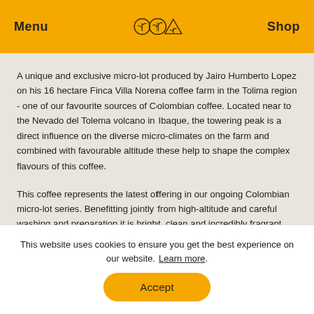Menu  [logo icons]  Shop
A unique and exclusive micro-lot produced by Jairo Humberto Lopez on his 16 hectare Finca Villa Norena coffee farm in the Tolima region - one of our favourite sources of Colombian coffee. Located near to the Nevado del Tolema volcano in Ibaque, the towering peak is a direct influence on the diverse micro-climates on the farm and combined with favourable altitude these help to shape the complex  flavours of this coffee.
This coffee represents the latest offering in our ongoing Colombian micro-lot series. Benefitting jointly from high-altitude and careful washing and preparation it is bright, clean and incredibly fragrant. On the nose I found
This website uses cookies to ensure you get the best experience on our website. Learn more.
Accept